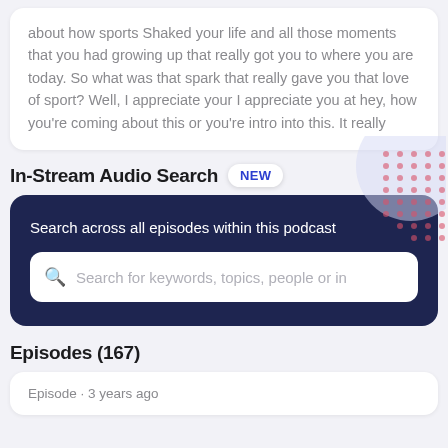about how sports Shaked your life and all those moments that you had growing up that really got you to where you are today. So what was that spark that really gave you that love of sport? Well, I appreciate your I appreciate you at hey, how you're coming about this or you're intro into this. It really
In-Stream Audio Search NEW
Search across all episodes within this podcast
Search for keywords, topics, people or in
Episodes (167)
Episode · 3 years ago